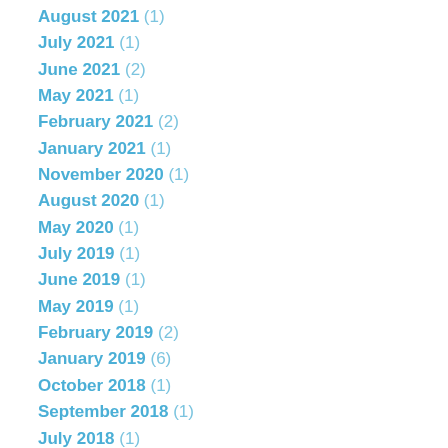August 2021 (1)
July 2021 (1)
June 2021 (2)
May 2021 (1)
February 2021 (2)
January 2021 (1)
November 2020 (1)
August 2020 (1)
May 2020 (1)
July 2019 (1)
June 2019 (1)
May 2019 (1)
February 2019 (2)
January 2019 (6)
October 2018 (1)
September 2018 (1)
July 2018 (1)
June 2018 (2)
May 2018 (2)
January 2018 (1)